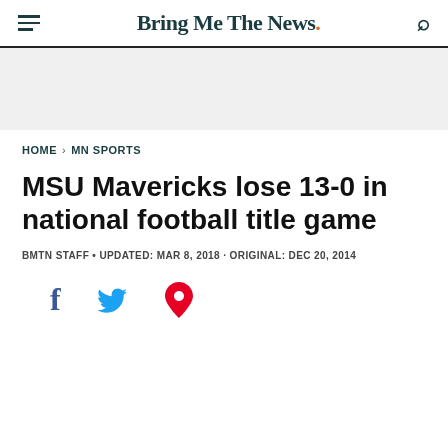Bring Me The News.
HOME › MN SPORTS
MSU Mavericks lose 13-0 in national football title game
BMTN STAFF • UPDATED: MAR 8, 2018 · ORIGINAL: DEC 20, 2014
[Figure (other): Social sharing icons: Facebook (f), Twitter (bird), Pinterest (P)]